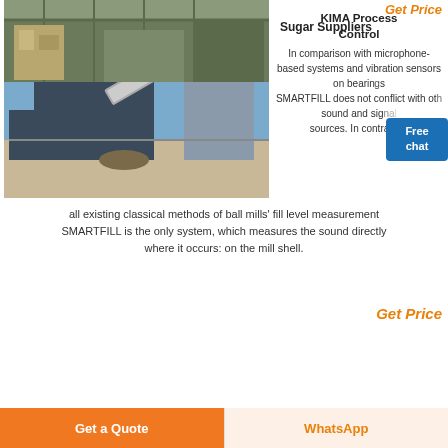Get Price
[Figure (photo): Industrial ball mill facility with large machinery, conveyor belts, and silos against a blue sky]
KIMA Process Control
In comparison with microphone-based systems and vibration sensors on bearings, SMARTFILL does not conflict with other sound and signal sources. In contrast to all existing classical methods of ball mills' fill level measurement SMARTFILL is the only system, which measures the sound directly where it occurs: on the mill shell.
Get Price
[Figure (photo): Interior of an industrial warehouse or facility with machinery and scaffolding]
Sugar Suppliers
Get a Quote | WhatsApp